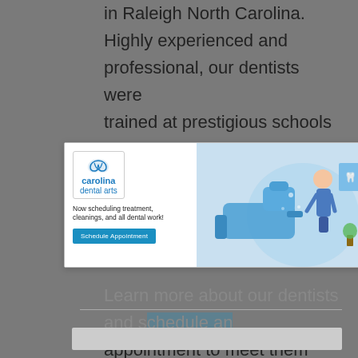in Raleigh North Carolina. Highly experienced and professional, our dentists were trained at prestigious schools and continue their education at meetings, lectures, conferences and more so that they can bring their patients the best dental care in NC.
[Figure (infographic): Carolina Dental Arts advertisement banner with logo, tagline 'Now scheduling treatment, cleanings, and all dental work!', a 'Schedule Appointment' button, and an illustration of a dentist near a dental chair with a blue background.]
Learn more about our dentists and schedule an appointment to meet them today.